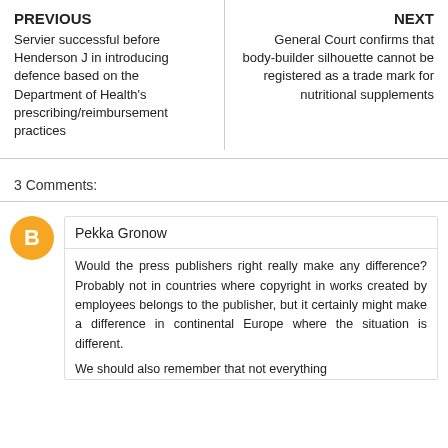PREVIOUS
Servier successful before Henderson J in introducing defence based on the Department of Health's prescribing/reimbursement practices
NEXT
General Court confirms that body-builder silhouette cannot be registered as a trade mark for nutritional supplements
3 Comments:
Pekka Gronow
Would the press publishers right really make any difference? Probably not in countries where copyright in works created by employees belongs to the publisher, but it certainly might make a difference in continental Europe where the situation is different.
We should also remember that not everything